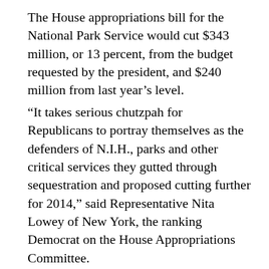The House appropriations bill for the National Park Service would cut $343 million, or 13 percent, from the budget requested by the president, and $240 million from last year’s level.
“It takes serious chutzpah for Republicans to portray themselves as the defenders of N.I.H., parks and other critical services they gutted through sequestration and proposed cutting further for 2014,” said Representative Nita Lowey of New York, the ranking Democrat on the House Appropriations Committee.
The House’s agriculture bill, which similarly did not get a vote in the full chamber, would have cut the president’s request for the women, infants and children nutrition program by $488 million, even more than the $333 million sliced by sequestration.
Friday’s debate over that financing bill brought Democrats practically to apoplexy.
“Are we meant to believe that today they have come to